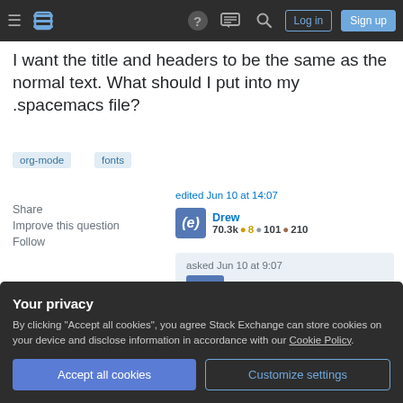Stack Exchange navigation bar with hamburger menu, logo, help, chat, search, Log in, Sign up buttons
I want the title and headers to be the same as the normal text. What should I put into my .spacemacs file?
org-mode
fonts
Share
Improve this question
Follow
edited Jun 10 at 14:07
Drew
70.3k ()8  ()101  ()210
asked Jun 10 at 9:07
Your privacy
By clicking "Accept all cookies", you agree Stack Exchange can store cookies on your device and disclose information in accordance with our Cookie Policy.
Accept all cookies
Customize settings